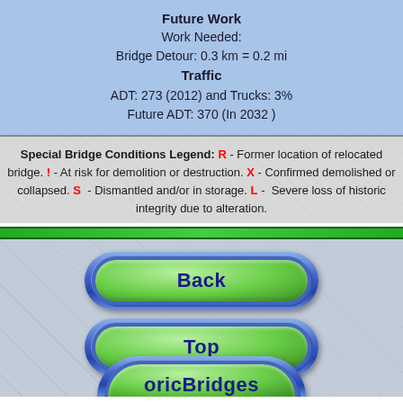Future Work
Work Needed:
Bridge Detour: 0.3 km = 0.2 mi
Traffic
ADT: 273 (2012) and Trucks: 3%
Future ADT: 370 (In 2032 )
Special Bridge Conditions Legend: R - Former location of relocated bridge. ! - At risk for demolition or destruction. X - Confirmed demolished or collapsed. S - Dismantled and/or in storage. L - Severe loss of historic integrity due to alteration.
[Figure (other): Navigation buttons: Back, Top, and partially visible HistoricBridges button]
[Figure (other): Green horizontal navigation bar]
[Figure (other): Back button - green oval with blue border]
[Figure (other): Top button - green oval with blue border]
[Figure (other): Partially visible HistoricBridges button at bottom]